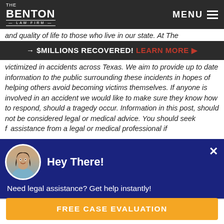The Benton Law Firm — MENU
and quality of life to those who live in our state. At The
→ $MILLIONS RECOVERED! LEARN MORE ▶
victimized in accidents across Texas. We aim to provide up to date information to the public surrounding these incidents in hopes of helping others avoid becoming victims themselves. If anyone is involved in an accident we would like to make sure they know how to respond, should a tragedy occur. Information in this post, should not be considered legal or medical advice. You should seek f…assistance from a legal or medical professional if
[Figure (screenshot): Chat popup widget with avatar of a smiling woman, dark navy background, 'Hey There!' greeting, and message 'Need legal assistance? Get help instantly!']
FREE CASE EVALUATION